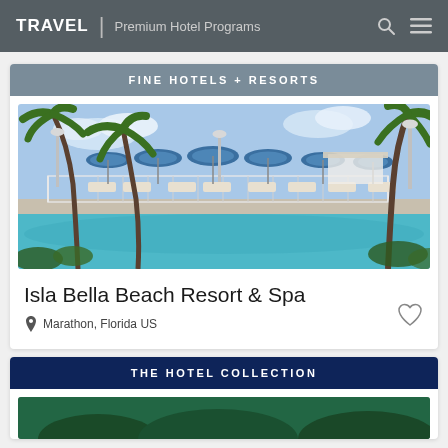TRAVEL | Premium Hotel Programs
FINE HOTELS + RESORTS
[Figure (photo): Luxury resort pool with blue and white striped beach umbrellas, lounge chairs, palm trees, and turquoise water at Isla Bella Beach Resort & Spa]
Isla Bella Beach Resort & Spa
Marathon, Florida US
THE HOTEL COLLECTION